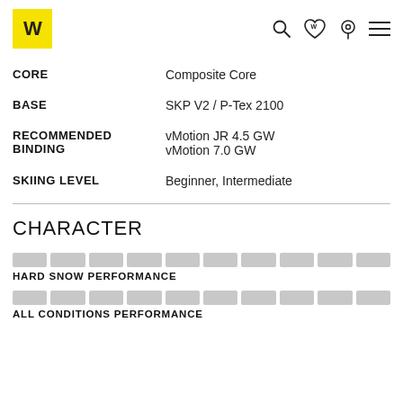Völkl logo and navigation icons
| Attribute | Value |
| --- | --- |
| CORE | Composite Core |
| BASE | SKP V2 / P-Tex 2100 |
| RECOMMENDED BINDING | vMotion JR 4.5 GW
vMotion 7.0 GW |
| SKIING LEVEL | Beginner, Intermediate |
CHARACTER
[Figure (bar-chart): 10-segment horizontal bar chart with all segments filled in light grey]
[Figure (bar-chart): 10-segment horizontal bar chart with all segments filled in light grey]